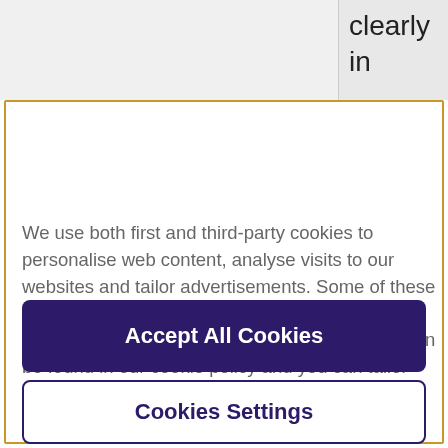clearly
in
We use both first and third-party cookies to personalise web content, analyse visits to our websites and tailor advertisements. Some of these cookies are necessary for the website to function, whilst others require your consent. More detail can be found in our cookie policy and you can tailor your choices in the preference centre.
Accept All Cookies
Cookies Settings